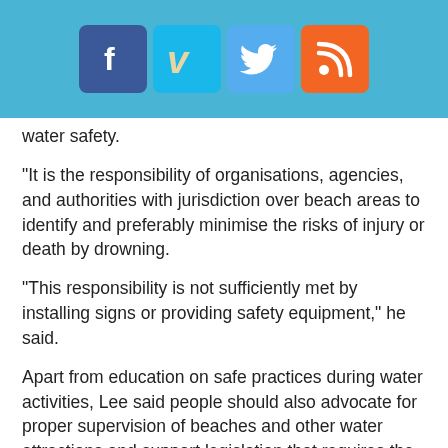[Figure (other): Social media icon bar with Facebook, Vimeo, Twitter, and RSS icons on a light blue background]
water safety.
"It is the responsibility of organisations, agencies, and authorities with jurisdiction over beach areas to identify and preferably minimise the risks of injury or death by drowning.
"This responsibility is not sufficiently met by installing signs or providing safety equipment," he said.
Apart from education on safe practices during water activities, Lee said people should also advocate for proper supervision of beaches and other water attractions and support legislation that requires the use of personal floatation devises to be worn in the water. - Bernama